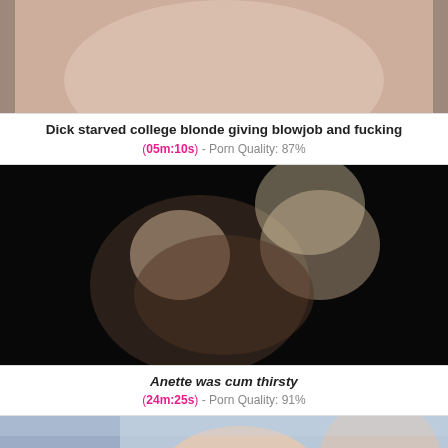[Figure (photo): Thumbnail image for adult video - first card, partially visible at top]
Dick starved college blonde giving blowjob and fucking
(05m:10s) - Porn Quality: 87%
[Figure (photo): Thumbnail image for adult video - dark scene, two people]
Anette was cum thirsty
(24m:25s) - Porn Quality: 91%
[Figure (photo): Thumbnail image for adult video - third card, partially visible at bottom]